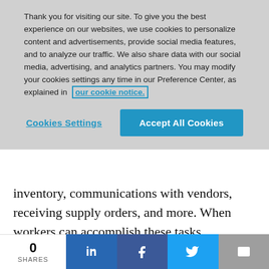Thank you for visiting our site.  To give you the best experience on our websites, we use cookies to personalize content and advertisements, provide social media features, and to analyze our traffic.  We also share data with our social media, advertising, and analytics partners.  You may modify your cookies settings any time in our Preference Center, as explained in our cookie notice.
Cookies Settings    Accept All Cookies
inventory, communications with vendors, receiving supply orders, and more. When workers can accomplish these tasks efficiently and with fewer interruptions, this adds to a greater sense of accomplishment of a job well done. It also helps to promote an atmosphere
0 SHARES